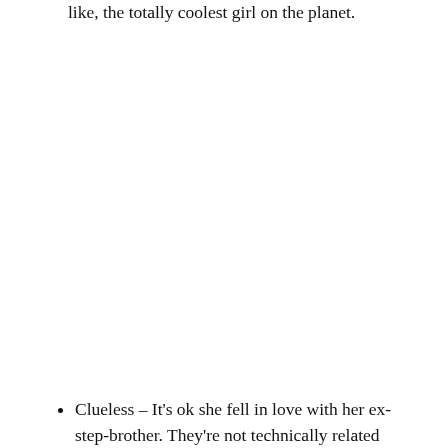like, the totally coolest girl on the planet.
Clueless – It's ok she fell in love with her ex-step-brother. They're not technically related